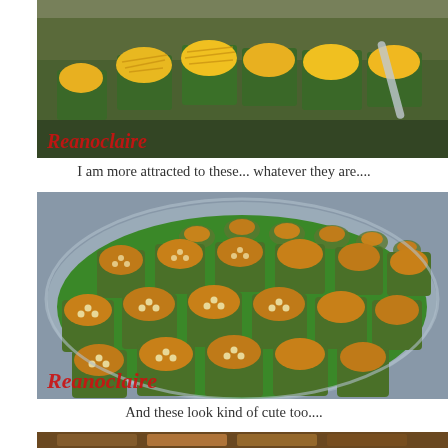[Figure (photo): Close-up photo of Thai desserts (golden thread or foi thong on green banana leaf cups) on a tray, with red italic watermark 'Reanoclaire' in lower left]
I am more attracted to these... whatever they are....
[Figure (photo): Photo of many small Thai kanom desserts in banana leaf cups arranged on a silver tray, topped with small round orange/amber jelly pieces, with red italic watermark 'Reanoclaire' in lower left]
And these look kind of cute too....
[Figure (photo): Partial bottom strip of another food photo]